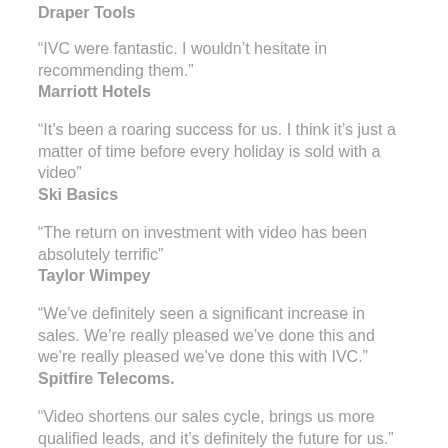Draper Tools
“IVC were fantastic. I wouldn’t hesitate in recommending them.” Marriott Hotels
“It’s been a roaring success for us. I think it’s just a matter of time before every holiday is sold with a video” Ski Basics
“The return on investment with video has been absolutely terrific” Taylor Wimpey
“We’ve definitely seen a significant increase in sales. We’re really pleased we’ve done this and we’re really pleased we’ve done this with IVC.” Spitfire Telecoms.
“Video shortens our sales cycle, brings us more qualified leads, and it’s definitely the future for us.” Marketing Unit...